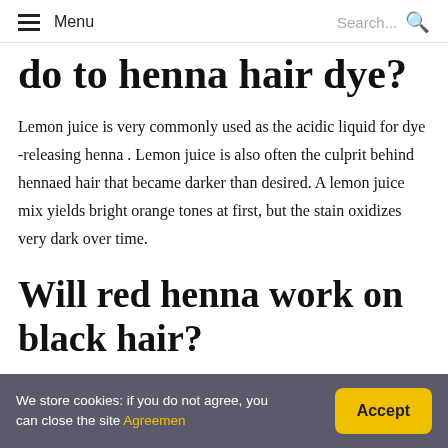Menu  Search...
do to henna hair dye?
Lemon juice is very commonly used as the acidic liquid for dye -releasing henna . Lemon juice is also often the culprit behind hennaed hair that became darker than desired. A lemon juice mix yields bright orange tones at first, but the stain oxidizes very dark over time.
Will red henna work on black hair?
We store cookies: if you do not agree, you can close the site Agreemen  Accept